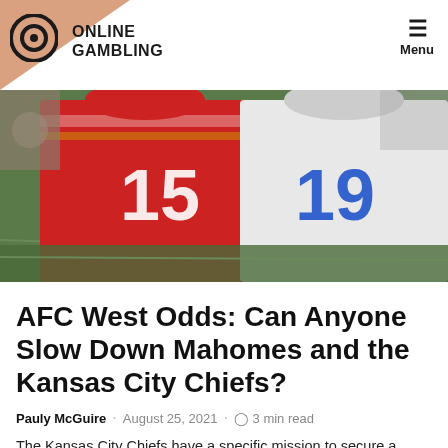ONLINE GAMBLING — Menu
[Figure (photo): Two football players standing side by side, one in a red Kansas City Chiefs jersey number 15, the other in a white jersey number 19, on a football field.]
AFC West Odds: Can Anyone Slow Down Mahomes and the Kansas City Chiefs?
Pauly McGuire · August 25, 2021 · 3 min read
The Kansas City Chiefs have a specific mission to secure a